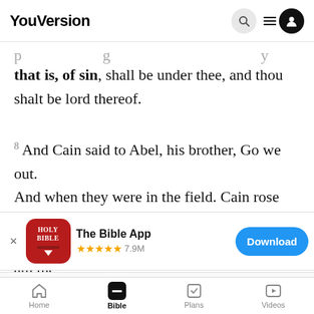YouVersion
that is, of sin, shall be under thee, and thou shalt be lord thereof.
8 And Cain said to Abel, his brother, Go we out. And when they were in the field. Cain rose against
[Figure (screenshot): App store banner: The Bible App with 5 stars rating 7.9M and Download button]
YouVersion uses cookies to personalize your experience. By using our website, you accept our use of cookies as described in our Privacy Policy.
Home  Bible  Plans  Videos